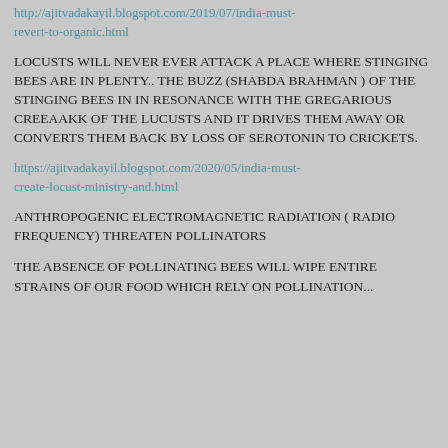http://ajitvadakayil.blogspot.com/2019/07/india-must-revert-to-organic.html
LOCUSTS WILL NEVER EVER ATTACK A PLACE WHERE STINGING BEES ARE IN PLENTY.. THE BUZZ (SHABDA BRAHMAN ) OF THE STINGING BEES IN IN RESONANCE WITH THE GREGARIOUS CREEAAKK OF THE LUCUSTS AND IT DRIVES THEM AWAY OR CONVERTS THEM BACK BY LOSS OF SEROTONIN TO CRICKETS.
https://ajitvadakayil.blogspot.com/2020/05/india-must-create-locust-ministry-and.html
ANTHROPOGENIC ELECTROMAGNETIC RADIATION ( RADIO FREQUENCY) THREATEN POLLINATORS
THE ABSENCE OF POLLINATING BEES WILL WIPE ENTIRE STRAINS OF OUR FOOD WHICH RELY ON POLLINATION...